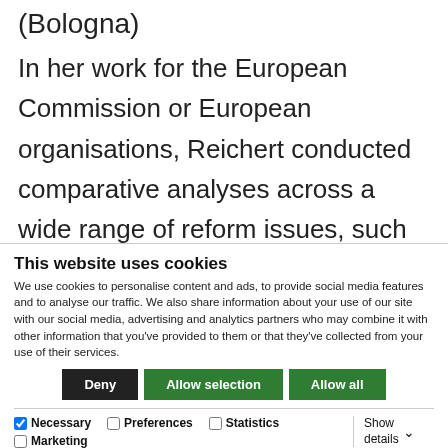(Bologna)
In her work for the European Commission or European organisations, Reichert conducted comparative analyses across a wide range of reform issues, such as the Bologna reforms, strategy development and capacity at universities, universities’ roles in knowledge regions or innovation ecosystems, institutional differentiation in higher education systems, or
This website uses cookies
We use cookies to personalise content and ads, to provide social media features and to analyse our traffic. We also share information about your use of our site with our social media, advertising and analytics partners who may combine it with other information that you’ve provided to them or that they’ve collected from your use of their services.
Deny | Allow selection | Allow all
Necessary  Preferences  Statistics  Marketing  Show details